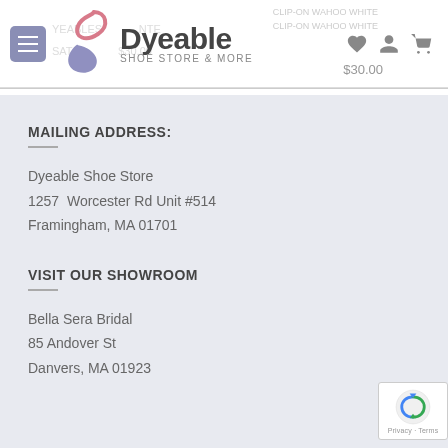[Figure (logo): Dyeable Shoe Store & More logo with stylized S shape in pink and purple]
MAILING ADDRESS:
Dyeable Shoe Store
1257  Worcester Rd Unit #514
Framingham, MA 01701
VISIT OUR SHOWROOM
Bella Sera Bridal
85 Andover St
Danvers, MA 01923